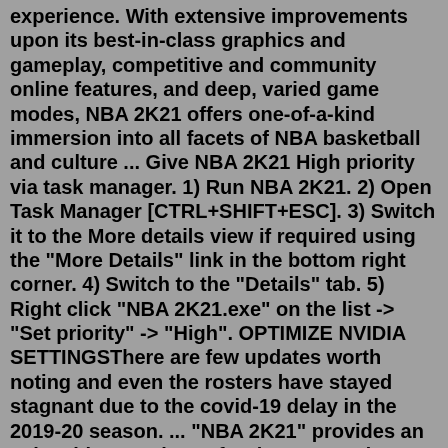experience. With extensive improvements upon its best-in-class graphics and gameplay, competitive and community online features, and deep, varied game modes, NBA 2K21 offers one-of-a-kind immersion into all facets of NBA basketball and culture ... Give NBA 2K21 High priority via task manager. 1) Run NBA 2K21. 2) Open Task Manager [CTRL+SHIFT+ESC]. 3) Switch it to the More details view if required using the "More Details" link in the bottom right corner. 4) Switch to the "Details" tab. 5) Right click "NBA 2K21.exe" on the list -> "Set priority" -> "High". OPTIMIZE NVIDIA SETTINGSThere are few updates worth noting and even the rosters have stayed stagnant due to the covid-19 delay in the 2019-20 season. ... "NBA 2K21" provides an enjoyable experience for the eyes and ...We hope this additional information will supply clarity when you get your NBA 2K21 MT. Many elements may postpone your shipment, as well as we believe that a clear checklist of concerns will speed up distributions for everyone. The following list is the